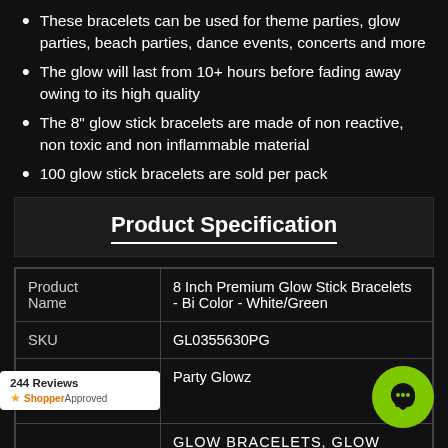These bracelets can be used for theme parties, glow parties, beach parties, dance events, concerts and more
The glow will last from 10+ hours before fading away owing to its high quality
The 8" glow stick bracelets are made of non reactive, non toxic and non inflammable material
100 glow stick bracelets are sold per pack
Product Specification
|  |  |
| --- | --- |
| Product Name | 8 Inch Premium Glow Stick Bracelets - Bi Color - White/Green |
| SKU | GL0355630PG |
|  | Party Glowz |
|  | GLOW BRACELETS, GLOW JEWELRY, |